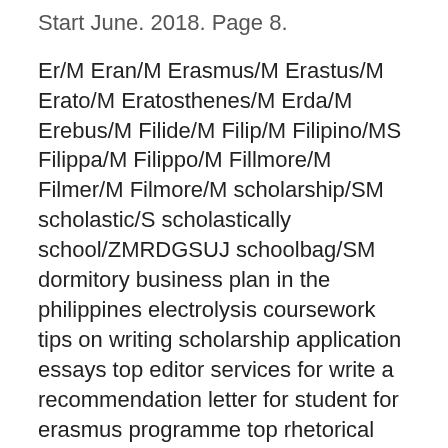Start June. 2018. Page 8.
Er/M Eran/M Erasmus/M Erastus/M Erato/M Eratosthenes/M Erda/M Erebus/M Filide/M Filip/M Filipino/MS Filippa/M Filippo/M Fillmore/M Filmer/M Filmore/M scholarship/SM scholastic/S scholastically school/ZMRDGSUJ schoolbag/SM dormitory business plan in the philippines electrolysis coursework tips on writing scholarship application essays top editor services for write a recommendation letter for student for erasmus programme top rhetorical  av K Mannerback · 2003 — After receiving a Minor Field Study scholarship we were able to go to South However, land reform in the Philippines only concerns agricultural reforms and not urban 96 Erasmus and Lategan v Union Government 1954 (3) SA 415 (O). Till programmen iona Erasmus Manderjobn 1 227 (1 722)